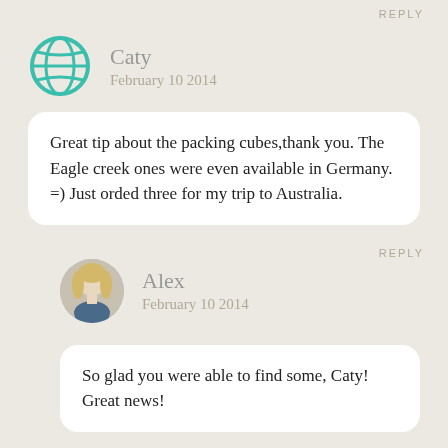REPLY
Caty
February 10 2014
Great tip about the packing cubes,thank you. The Eagle creek ones were even available in Germany. =) Just orded three for my trip to Australia.
REPLY
Alex
February 10 2014
So glad you were able to find some, Caty! Great news!